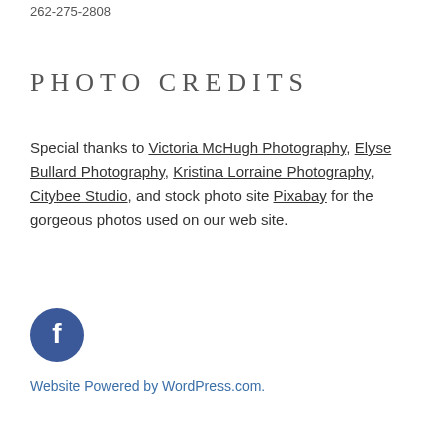262-275-2808
PHOTO CREDITS
Special thanks to Victoria McHugh Photography, Elyse Bullard Photography, Kristina Lorraine Photography, Citybee Studio, and stock photo site Pixabay for the gorgeous photos used on our web site.
[Figure (logo): Facebook icon — circular dark blue button with white lowercase 'f' letter]
Website Powered by WordPress.com.